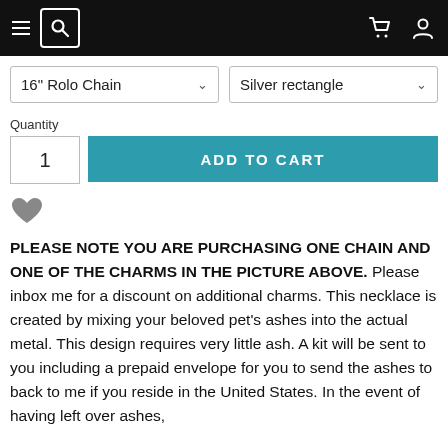Navigation header with hamburger menu, search icon, cart icon, and user icon
16" Rolo Chain   Silver rectangle
Quantity
1   ADD TO CART
♥
PLEASE NOTE YOU ARE PURCHASING ONE CHAIN AND ONE OF THE CHARMS IN THE PICTURE ABOVE. Please inbox me for a discount on additional charms. This necklace is created by mixing your beloved pet's ashes into the actual metal. This design requires very little ash. A kit will be sent to you including a prepaid envelope for you to send the ashes to back to me if you reside in the United States. In the event of having left over ashes,